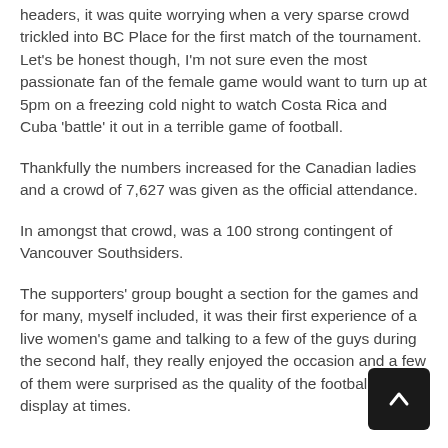headers, it was quite worrying when a very sparse crowd trickled into BC Place for the first match of the tournament. Let's be honest though, I'm not sure even the most passionate fan of the female game would want to turn up at 5pm on a freezing cold night to watch Costa Rica and Cuba 'battle' it out in a terrible game of football.
Thankfully the numbers increased for the Canadian ladies and a crowd of 7,627 was given as the official attendance.
In amongst that crowd, was a 100 strong contingent of Vancouver Southsiders.
The supporters' group bought a section for the games and for many, myself included, it was their first experience of a live women's game and talking to a few of the guys during the second half, they really enjoyed the occasion and a few of them were surprised as the quality of the football on display at times.